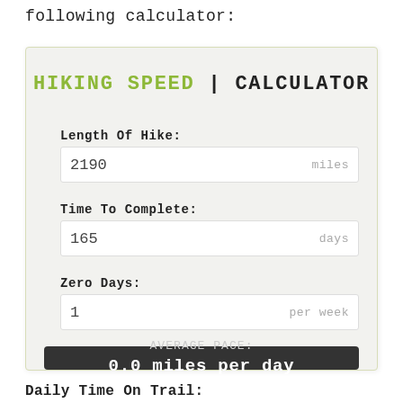following calculator:
HIKING SPEED | CALCULATOR
Length Of Hike:
2190 miles
Time To Complete:
165 days
Zero Days:
1 per week
AVERAGE PACE: 0.0 miles per day
Daily Time On Trail: